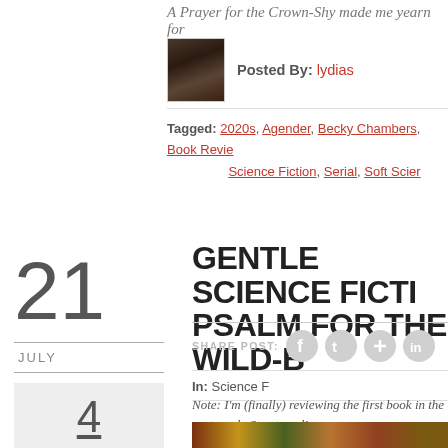A Prayer for the Crown-Shy made me yearn for
Posted By: lydias
Tagged: 2020s, Agender, Becky Chambers, Book Review, Science Fiction, Serial, Soft Scier
GENTLE SCIENCE FICTION: A PSALM FOR THE WILD-B
SHARE POST:
In: Science F
Note: I'm (finally) reviewing the first book in the next week. Stay tuned!
21
JULY
4
[Figure (photo): colorful book cover image strip at bottom]